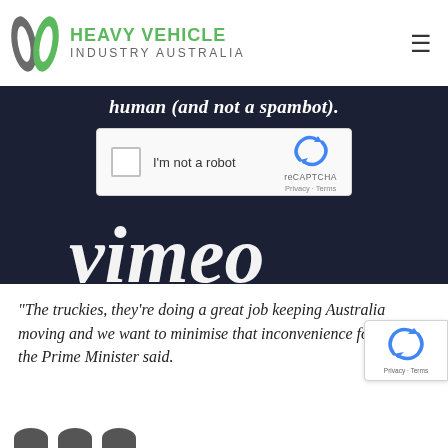[Figure (logo): Heavy Vehicle Industry Australia logo with green stylized truck/road icon on left and organization name on right]
[Figure (screenshot): Screenshot of a Vimeo video page showing a reCAPTCHA 'I'm not a robot' widget on a dark navy background with partial white Vimeo logo text in large italic script at the bottom. Partial text at top reads 'human (and not a spambot).']
“The truckies, they’re doing a great job keeping Australia moving and we want to minimise that inconvenience for them,” the Prime Minister said.